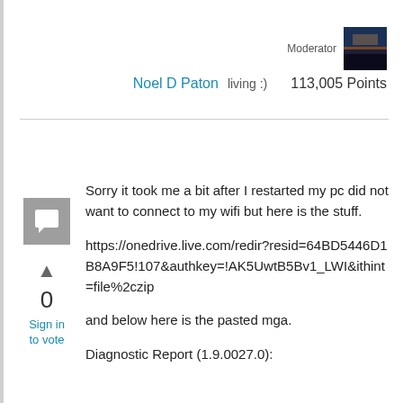Moderator
Noel D Paton living :)   113,005 Points
0
Sign in to vote
Sorry it took me a bit after I restarted my pc did not want to connect to my wifi but here is the stuff.
https://onedrive.live.com/redir?resid=64BD5446D1B8A9F5!107&authkey=!AK5UwtB5Bv1_LWI&ithint=file%2czip
and below here is the pasted mga.
Diagnostic Report (1.9.0027.0):